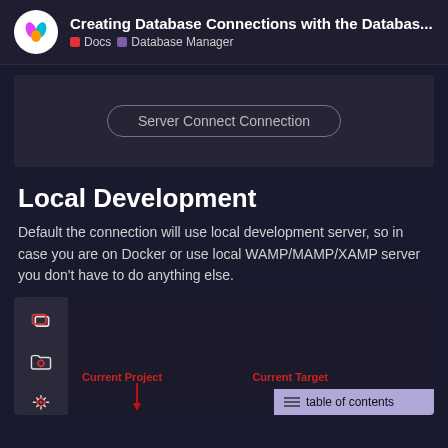Creating Database Connections with the Databas... | Docs | Database Manager
[Figure (screenshot): Dark UI panel with a rounded button labeled 'Server Connect Connection']
Local Development
Default the connection will use local development server, so in case you are on Docker or use local WAMP/MAMP/XAMP server you don't have to do anything else.
[Figure (screenshot): Dark IDE/database manager UI with sidebar icons, showing 'Current Project' and 'Current Target' labels with a 'table of contents' overlay button]